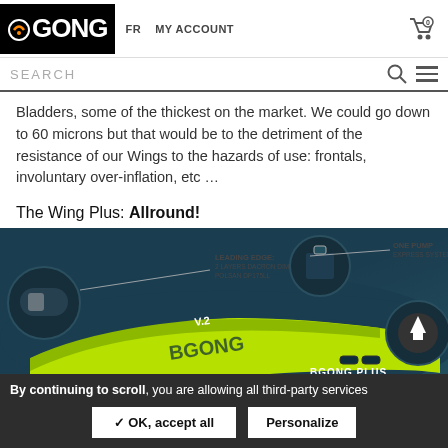GONG — FR  MY ACCOUNT
SEARCH
Bladders, some of the thickest on the market. We could go down to 60 microns but that would be to the detriment of the resistance of our Wings to the hazards of use: frontals, involuntary over-inflation, etc ...
The Wing Plus: Allround!
[Figure (photo): Product photo of GONG Wing Plus V.2 with labeled components: LEADING EDGE 2 LAYERS DACRON DIMENSION POLSAN DP175LL, ONE PUMP EXPRESS SYSTEM, PVC REINFORCEMENT 1680D, and a detail/deflate icon.]
By continuing to scroll, you are allowing all third-party services